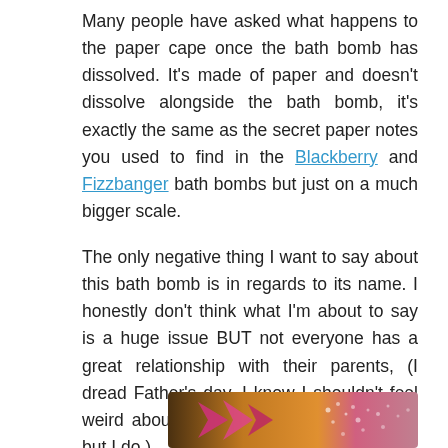Many people have asked what happens to the paper cape once the bath bomb has dissolved. It's made of paper and doesn't dissolve alongside the bath bomb, it's exactly the same as the secret paper notes you used to find in the Blackberry and Fizzbanger bath bombs but just on a much bigger scale.
The only negative thing I want to say about this bath bomb is in regards to its name. I honestly don't think what I'm about to say is a huge issue BUT not everyone has a great relationship with their parents, (I dread Father's day, I know I shouldn't feel weird about enjoying that line of products but I do.)
[Figure (photo): Close-up photo of a bath bomb dissolving in water, showing a pink and orange design with arrow-like shapes on the surface, with fizzing bubbles visible.]